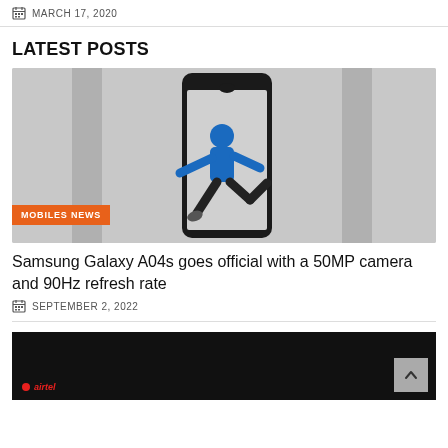MARCH 17, 2020
LATEST POSTS
[Figure (photo): Samsung smartphone with a runner in blue athletic wear leaping through the phone screen against a grey background. Orange badge reading MOBILES NEWS in bottom-left.]
Samsung Galaxy A04s goes official with a 50MP camera and 90Hz refresh rate
SEPTEMBER 2, 2022
[Figure (photo): Dark background image partially visible, with Airtel logo (red dot and italic text) visible at bottom-left and a scroll-to-top button at bottom-right.]